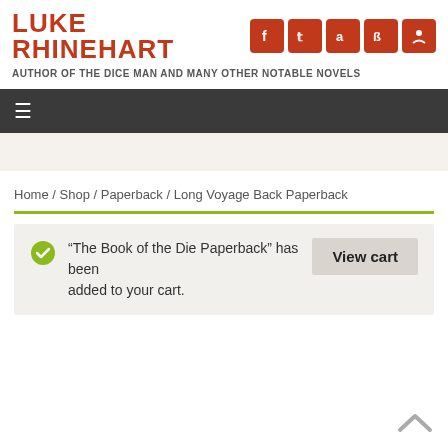LUKE RHINEHART
AUTHOR OF THE DICE MAN AND MANY OTHER NOTABLE NOVELS
☰
Home / Shop / Paperback / Long Voyage Back Paperback
“The Book of the Die Paperback” has been added to your cart.